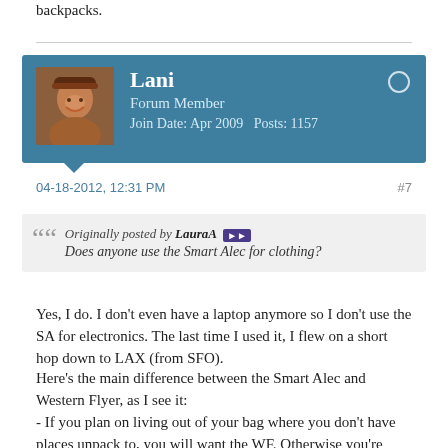backpacks.
Lani
Forum Member
Join Date: Apr 2009    Posts: 1157
04-18-2012, 12:31 PM    #7
Originally posted by LauraA
Does anyone use the Smart Alec for clothing?
Yes, I do. I don't even have a laptop anymore so I don't use the SA for electronics. The last time I used it, I flew on a short hop down to LAX (from SFO).
Here's the main difference between the Smart Alec and Western Flyer, as I see it:
- If you plan on living out of your bag where you don't have places unpack to, you will want the WF. Otherwise you're gonna be digging around inside your SA to find